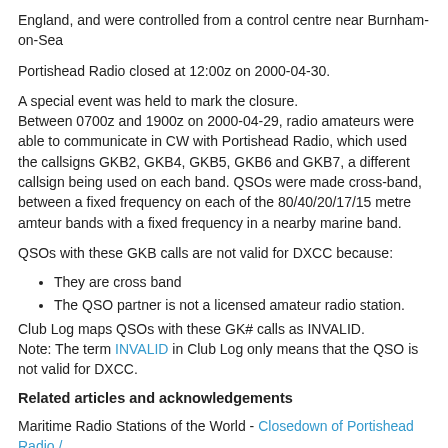England, and were controlled from a control centre near Burnham-on-Sea
Portishead Radio closed at 12:00z on 2000-04-30.
A special event was held to mark the closure.
Between 0700z and 1900z on 2000-04-29, radio amateurs were able to communicate in CW with Portishead Radio, which used the callsigns GKB2, GKB4, GKB5, GKB6 and GKB7, a different callsign being used on each band. QSOs were made cross-band, between a fixed frequency on each of the 80/40/20/17/15 metre amteur bands with a fixed frequency in a nearby marine band.
QSOs with these GKB calls are not valid for DXCC because:
They are cross band
The QSO partner is not a licensed amateur radio station.
Club Log maps QSOs with these GK# calls as INVALID.
Note: The term INVALID in Club Log only means that the QSO is not valid for DXCC.
Related articles and acknowledgements
Maritime Radio Stations of the World - Closedown of Portishead Radio / GKA